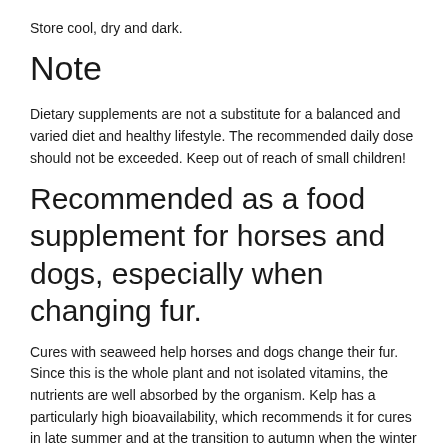Store cool, dry and dark.
Note
Dietary supplements are not a substitute for a balanced and varied diet and healthy lifestyle. The recommended daily dose should not be exceeded. Keep out of reach of small children!
Recommended as a food supplement for horses and dogs, especially when changing fur.
Cures with seaweed help horses and dogs change their fur. Since this is the whole plant and not isolated vitamins, the nutrients are well absorbed by the organism. Kelp has a particularly high bioavailability, which recommends it for cures in late summer and at the transition to autumn when the winter fur starts to push the summer fur out. If kelp is already being fed at this point, the horse will have a much easier time